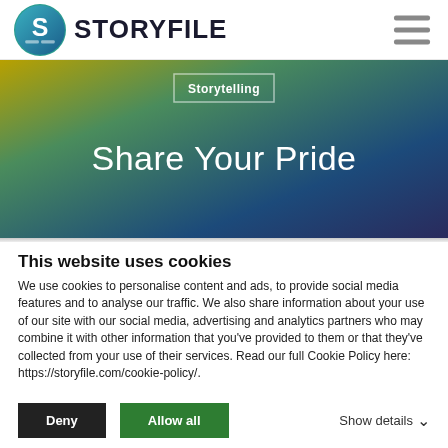STORYFILE
[Figure (illustration): StoryFile logo with circular S icon and hamburger menu icon]
[Figure (illustration): Hero banner with gradient background (yellow-green-dark blue), Storytelling badge label, and large white text 'Share Your Pride']
This website uses cookies
We use cookies to personalise content and ads, to provide social media features and to analyse our traffic. We also share information about your use of our site with our social media, advertising and analytics partners who may combine it with other information that you've provided to them or that they've collected from your use of their services. Read our full Cookie Policy here: https://storyfile.com/cookie-policy/.
Deny | Allow all | Show details